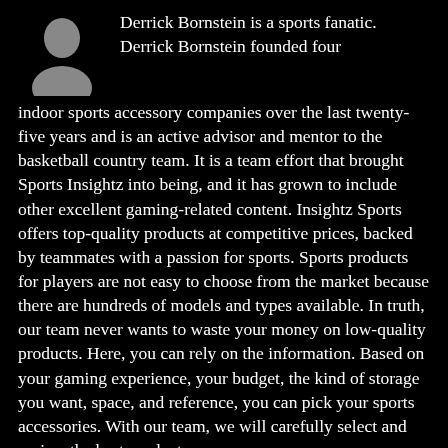[Figure (illustration): Gray silhouette avatar/placeholder profile image on black background]
Derrick Bornstein is a sports fanatic. Derrick Bornstein founded four indoor sports accessory companies over the last twenty-five years and is an active advisor and mentor to the basketball country team. It is a team effort that brought Sports Insightz into being, and it has grown to include other excellent gaming-related content. Insightz Sports offers top-quality products at competitive prices, backed by teammates with a passion for sports. Sports products for players are not easy to choose from the market because there are hundreds of models and types available. In truth, our team never wants to waste your money on low-quality products. Here, you can rely on the information. Based on your gaming experience, your budget, the kind of storage you want, space, and reference, you can pick your sports accessories. With our team, we will carefully select and review the best products